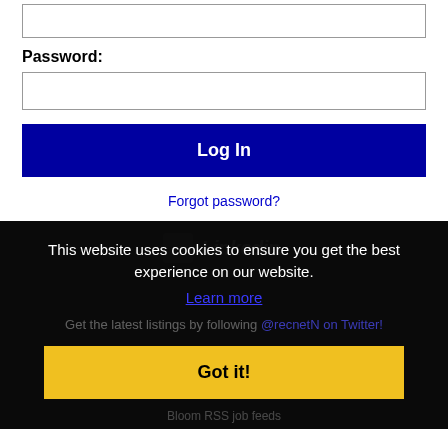Password:
[Figure (screenshot): Empty password input field with border]
Log In
Forgot password?
This website uses cookies to ensure you get the best experience on our website.
Learn more
Get the latest listings by following @recnetN on Twitter!
Got it!
Bloom RSS job feeds